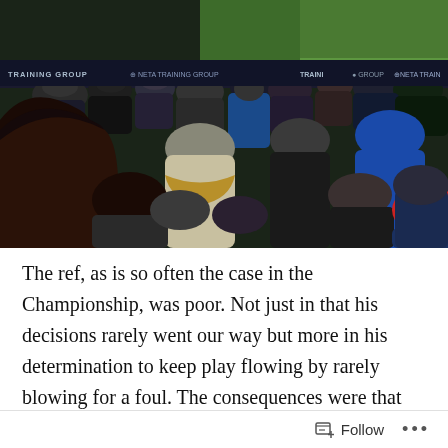[Figure (photo): Crowd of football fans watching a Championship match from the stands. The green pitch is visible in the background along with advertising hoardings reading 'NETA TRAINING GROUP'. Fans are wearing winter clothing including scarves in red and white team colors.]
The ref, as is so often the case in the Championship, was poor. Not just in that his decisions rarely went our way but more in his determination to keep play flowing by rarely blowing for a foul. The consequences were that the tackles got stronger, and more time was wasted by players surrounding him with a list of retrospective complaints every time the ball eventually went dead. He'd have found
Follow ···